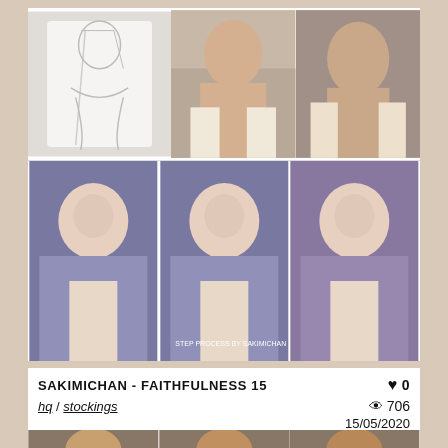[Figure (photo): Grid of 6 digital artwork images showing a white-haired anime character in progress steps, arranged in 2 rows of 3]
SAKIMICHAN - FAITHFULNESS 15
hq / stockings
0
706
15/05/2020
[Figure (photo): Grid of 3 digital artwork images showing dark-skinned anime character, partial view at bottom of page]